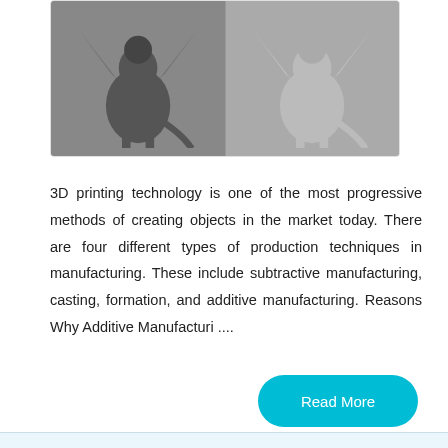[Figure (photo): Two side-by-side images of a 3D printed dragon model - left showing a dark/grey version, right showing a lighter/white version]
3D printing technology is one of the most progressive methods of creating objects in the market today. There are four different types of production techniques in manufacturing. These include subtractive manufacturing, casting, formation, and additive manufacturing. Reasons Why Additive Manufacturi ....
Read More
Reasons Why 3D Printing Technology is Underrated
Tags: Reasons Why 3D Printing Technology is Underrated